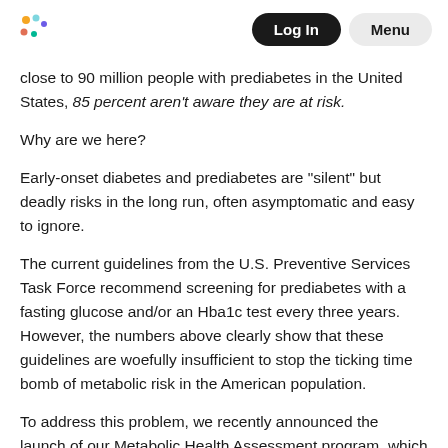Log In  Menu
close to 90 million people with prediabetes in the United States, 85 percent aren't aware they are at risk.
Why are we here?
Early-onset diabetes and prediabetes are “silent” but deadly risks in the long run, often asymptomatic and easy to ignore.
The current guidelines from the U.S. Preventive Services Task Force recommend screening for prediabetes with a fasting glucose and/or an Hba1c test every three years. However, the numbers above clearly show that these guidelines are woefully insufficient to stop the ticking time bomb of metabolic risk in the American population.
To address this problem, we recently announced the launch of our Metabolic Health Assessment program, which leverages continuous glucose monitoring (CGM) technology to identify people who have a high risk for